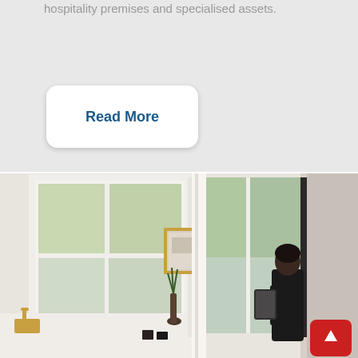hospitality premises and specialised assets.
[Figure (other): A white rounded-rectangle button labeled 'Read More' in bold dark blue text, on a light grey background section.]
[Figure (photo): Interior photo showing a bright kitchen and living area with large white-framed sash windows looking out onto greenery, a gold kitchen faucet/sink, small decorative items, a picture frame on the wall, and a person sitting in the right portion of the image looking at a tablet or phone. A red square button with an upward arrow is visible in the bottom right corner.]